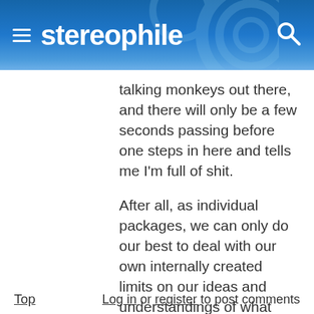stereophile
talking monkeys out there, and there will only be a few seconds passing before one steps in here and tells me I'm full of shit.
After all, as individual packages, we can only do our best to deal with our own internally created limits on our ideas and understandings of what reality is.
Top   Log in or register to post comments